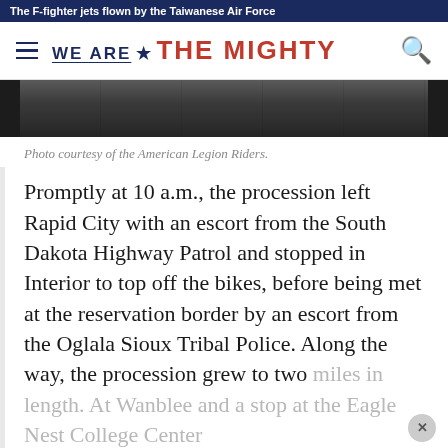The F-fighter jets flown by the Taiwanese Air Force
[Figure (photo): Partial photo showing people, dark background, appears to be American Legion Riders]
Photo courtesy of the American Legion Riders.
Promptly at 10 a.m., the procession left Rapid City with an escort from the South Dakota Highway Patrol and stopped in Interior to top off the bikes, before being met at the reservation border by an escort from the Oglala Sioux Tribal Police. Along the way, the procession grew to two miles in length. At Wanblee and a stop at the Eagle Nest College Center